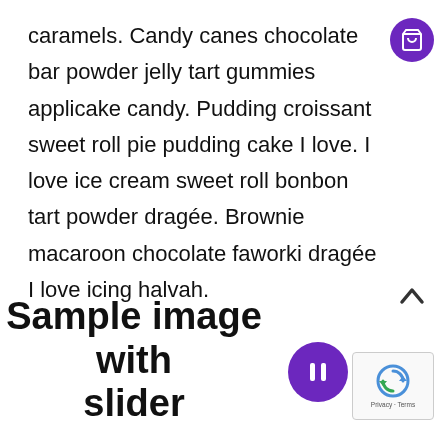caramels. Candy canes chocolate bar powder jelly tart gummies applicake candy. Pudding croissant sweet roll pie pudding cake I love. I love ice cream sweet roll bonbon tart powder dragée. Brownie macaroon chocolate faworki dragée I love icing halvah.
[Figure (illustration): Purple circular shopping cart icon button in top right corner]
[Figure (illustration): Grey upward chevron/caret icon on right side]
Sample image with slider
[Figure (illustration): Purple circular pause button icon]
[Figure (illustration): reCAPTCHA widget box showing spinning arrows logo and Privacy/Terms text]